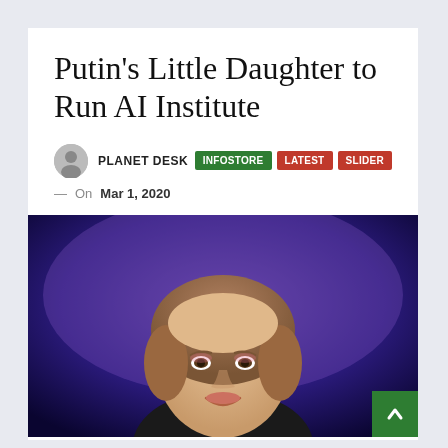Putin’s Little Daughter to Run AI Institute
PLANET DESK
INFOSTORE   LATEST   SLIDER
On Mar 1, 2020
[Figure (photo): Portrait of a woman with short bob haircut, smiling, against a purple/blue background lighting]